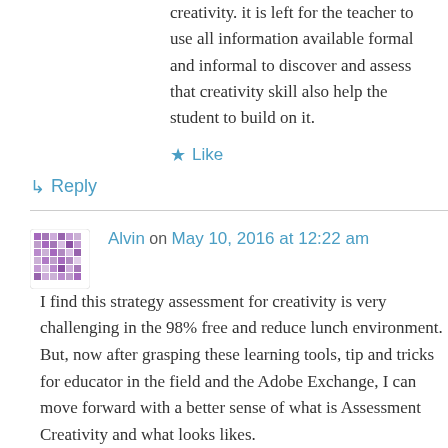creativity. it is left for the teacher to use all information available formal and informal to discover and assess that creativity skill also help the student to build on it.
★ Like
↳ Reply
Alvin on May 10, 2016 at 12:22 am
I find this strategy assessment for creativity is very challenging in the 98% free and reduce lunch environment. But, now after grasping these learning tools, tip and tricks for educator in the field and the Adobe Exchange, I can move forward with a better sense of what is Assessment Creativity and what looks likes.